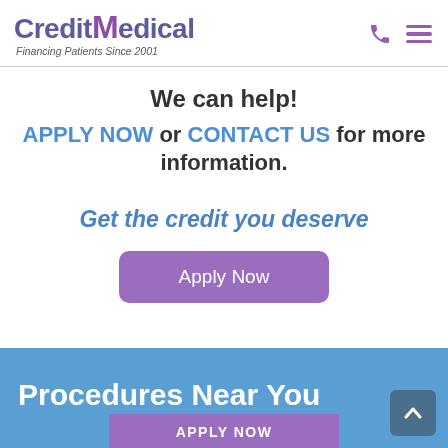CreditMedical — Financing Patients Since 2001
We can help!
APPLY NOW or CONTACT US for more information.
Get the credit you deserve
Apply Now
Procedures Near You
APPLY NOW